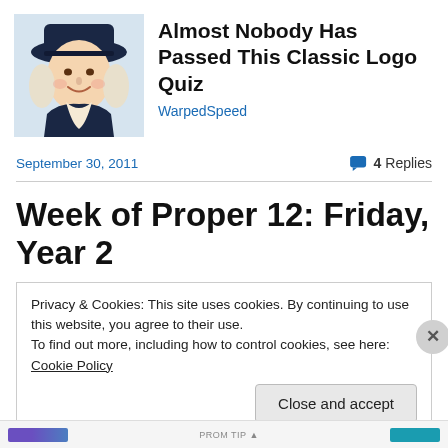[Figure (photo): Quaker Oats man illustration — a colonial-era man in a wide-brimmed dark hat with white wig/curls, wearing a dark coat with white collar, smiling]
Almost Nobody Has Passed This Classic Logo Quiz
WarpedSpeed
September 30, 2011
4 Replies
Week of Proper 12: Friday, Year 2
Privacy & Cookies: This site uses cookies. By continuing to use this website, you agree to their use.
To find out more, including how to control cookies, see here: Cookie Policy